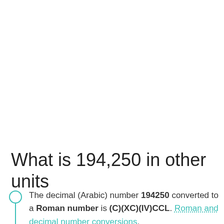What is 194,250 in other units
The decimal (Arabic) number 194250 converted to a Roman number is (C)(XC)(IV)CCL. Roman and decimal number conversions.